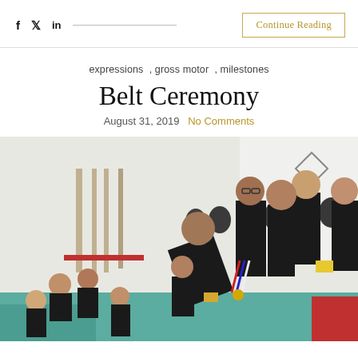f  twitter  in   Continue Reading
expressions , gross motor , milestones
Belt Ceremony
August 31, 2019   No Comments
[Figure (photo): Group of people in black uniforms at a martial arts belt ceremony in a dojo. Weapons hang on the wall in the background. An instructor bends forward presenting something to a young child while others stand holding medals and ribbons.]